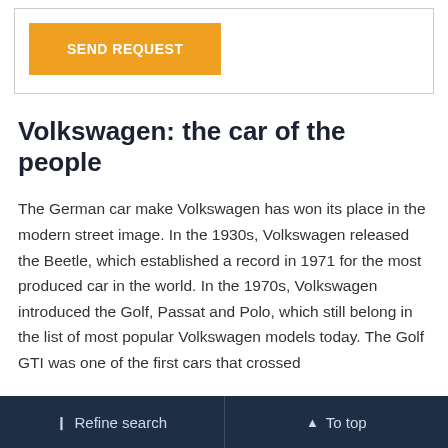[Figure (screenshot): Orange 'SEND REQUEST' button inside a bordered box]
Volkswagen: the car of the people
The German car make Volkswagen has won its place in the modern street image. In the 1930s, Volkswagen released the Beetle, which established a record in 1971 for the most produced car in the world. In the 1970s, Volkswagen introduced the Golf, Passat and Polo, which still belong in the list of most popular Volkswagen models today. The Golf GTI was one of the first cars that crossed
❙ Refine search    ▲ To top